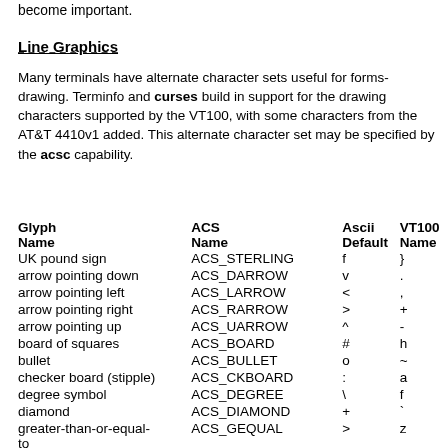become important.
Line Graphics
Many terminals have alternate character sets useful for forms-drawing. Terminfo and curses build in support for the drawing characters supported by the VT100, with some characters from the AT&T 4410v1 added. This alternate character set may be specified by the acsc capability.
| Glyph Name | ACS Name | Ascii Default | VT100 Name |
| --- | --- | --- | --- |
| UK pound sign | ACS_STERLING | f | } |
| arrow pointing down | ACS_DARROW | v | . |
| arrow pointing left | ACS_LARROW | < | , |
| arrow pointing right | ACS_RARROW | > | + |
| arrow pointing up | ACS_UARROW | ^ | - |
| board of squares | ACS_BOARD | # | h |
| bullet | ACS_BULLET | o | ~ |
| checker board (stipple) | ACS_CKBOARD | : | a |
| degree symbol | ACS_DEGREE | \ | f |
| diamond | ACS_DIAMOND | + | ` |
| greater-than-or-equal-to | ACS_GEQUAL | > | z |